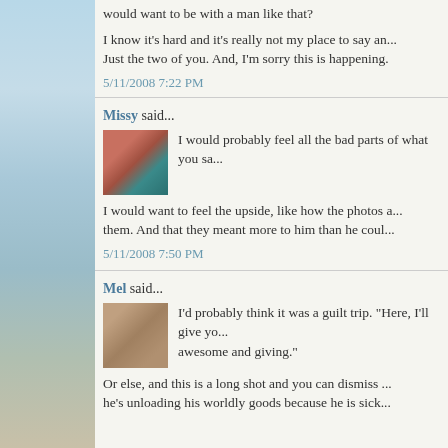would want to be with a man like that?
I know it's hard and it's really not my place to say an... Just the two of you. And, I'm sorry this is happening.
5/11/2008 7:22 PM
Missy said...
I would probably feel all the bad parts of what you sa...
I would want to feel the upside, like how the photos a... them. And that they meant more to him than he coul...
5/11/2008 7:50 PM
Mel said...
I'd probably think it was a guilt trip. "Here, I'll give yo... awesome and giving."
Or else, and this is a long shot and you can dismiss ... he's unloading his worldly goods because he is sick...